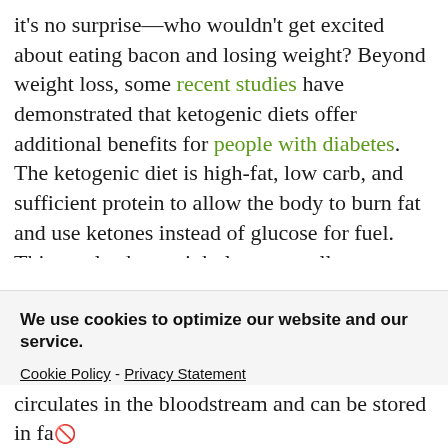it's no surprise—who wouldn't get excited about eating bacon and losing weight? Beyond weight loss, some recent studies have demonstrated that ketogenic diets offer additional benefits for people with diabetes. The ketogenic diet is high-fat, low carb, and sufficient protein to allow the body to burn fat and use ketones instead of glucose for fuel. This can lead to weight loss, as well as reductions in A1C and other cardiovascular risk factors. Originally, the ketogenic diet was developed as a method for treating medication-resistant epileptic seizures in children. It was not used as a weight loss tool because of concern...
We use cookies to optimize our website and our service.
Cookie Policy - Privacy Statement
Accept
circulates in the bloodstream and can be stored in fa...